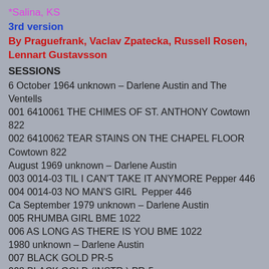*Salina, KS
3rd version
By Praguefrank, Vaclav Zpatecka, Russell Rosen, Lennart Gustavsson
SESSIONS
6 October 1964 unknown – Darlene Austin and The Ventells
001 6410061 THE CHIMES OF ST. ANTHONY Cowtown 822
002 6410062 TEAR STAINS ON THE CHAPEL FLOOR Cowtown 822
August 1969 unknown – Darlene Austin
003 0014-03 TIL I CAN'T TAKE IT ANYMORE Pepper 446
004 0014-03 NO MAN'S GIRL  Pepper 446
Ca September 1979 unknown – Darlene Austin
005 RHUMBA GIRL BME 1022
006 AS LONG AS THERE IS YOU BME 1022
1980 unknown – Darlene Austin
007 BLACK GOLD PR-5
008 BLACK GOLD (INSTR.) PR-5
1980 Music City Music Hall, 30 Music  Sq. West, Nashville, TN – Darlene Austin and The Road Company (Darlene